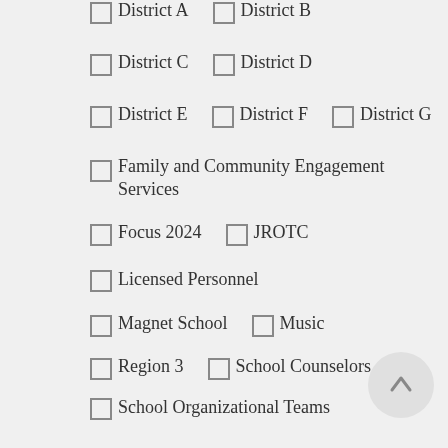☐ District A  ☐ District B
☐ District C  ☐ District D
☐ District E  ☐ District F  ☐ District G
☐ Family and Community Engagement Services
☐ Focus 2024  ☐ JROTC
☐ Licensed Personnel
☐ Magnet School  ☐ Music
☐ Region 3  ☐ School Counselors
☐ School Organizational Teams
☐ School-Community Partnership
☐ Sports  ☐ Superintendent